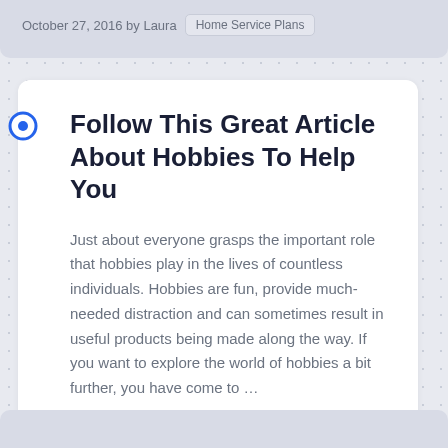October 27, 2016 by Laura  Home Service Plans
Follow This Great Article About Hobbies To Help You
Just about everyone grasps the important role that hobbies play in the lives of countless individuals. Hobbies are fun, provide much-needed distraction and can sometimes result in useful products being made along the way. If you want to explore the world of hobbies a bit further, you have come to …